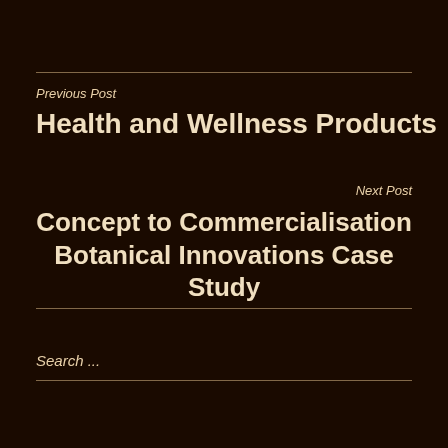Previous Post
Health and Wellness Products
Next Post
Concept to Commercialisation Botanical Innovations Case Study
Search ...